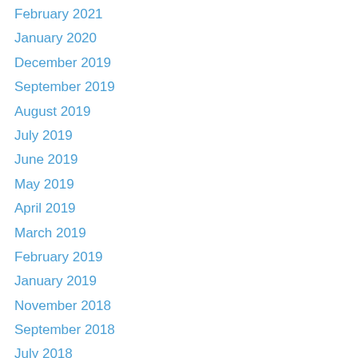February 2021
January 2020
December 2019
September 2019
August 2019
July 2019
June 2019
May 2019
April 2019
March 2019
February 2019
January 2019
November 2018
September 2018
July 2018
June 2018
April 2018
March 2018
February 2018
January 2018